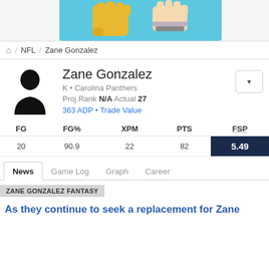[Figure (illustration): Top banner with cartoon fist and hand illustrations on light blue background]
NFL / Zane Gonzalez
Zane Gonzalez
K • Carolina Panthers
Proj Rank N/A Actual 27
363 ADP • Trade Value
| FG | FG% | XPM | PTS | FSP |
| --- | --- | --- | --- | --- |
| 20 | 90.9 | 22 | 82 | 5.49 |
News  Game Log  Graph  Career
ZANE GONZALEZ FANTASY
As they continue to seek a replacement for Zane